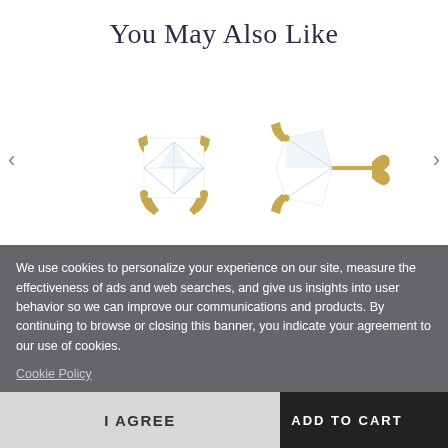You May Also Like
[Figure (photo): Two diamond stud earrings in yellow gold prong settings — one shown from the front (square cushion diamond), one shown from the side profile with the post and butterfly back visible.]
We use cookies to personalize your experience on our site, measure the effectiveness of ads and web searches, and give us insights into user behavior so we can improve our communications and products. By continuing to browse or closing this banner, you indicate your agreement to our use of cookies.
Cookie Policy
$6,099.00
$3,964.35
ADD TO CART
I AGREE